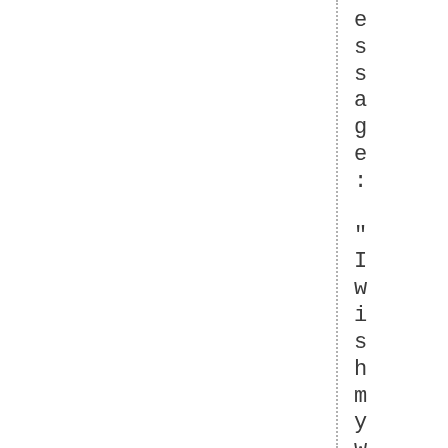essage:

" I wishmy wife was thisd